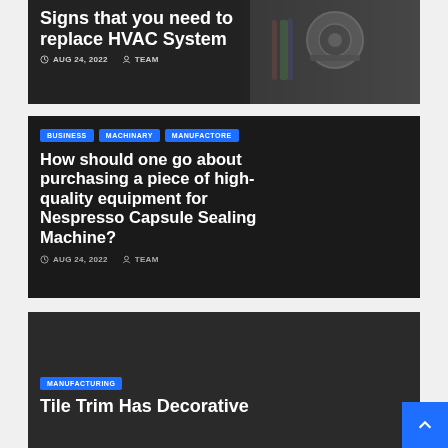[Figure (photo): Dark background with HVAC equipment components visible on the right side]
Signs that you need to replace HVAC System
AUG 24, 2022   TEAM
BUSINESS
MACHINARY
MANUFACTORE
How should one go about purchasing a piece of high-quality equipment for Nespresso Capsule Sealing Machine?
AUG 24, 2022   TEAM
[Figure (photo): Dark background photo for Tile Trim article]
MANUFACTURING
Tile Trim Has Decorative